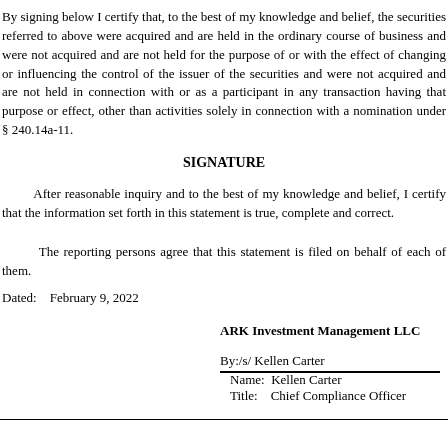By signing below I certify that, to the best of my knowledge and belief, the securities referred to above were acquired and are held in the ordinary course of business and were not acquired and are not held for the purpose of or with the effect of changing or influencing the control of the issuer of the securities and were not acquired and are not held in connection with or as a participant in any transaction having that purpose or effect, other than activities solely in connection with a nomination under § 240.14a-11.
SIGNATURE
After reasonable inquiry and to the best of my knowledge and belief, I certify that the information set forth in this statement is true, complete and correct.
The reporting persons agree that this statement is filed on behalf of each of them.
Dated:    February 9, 2022
ARK Investment Management LLC
By:/s/ Kellen Carter
Name:  Kellen Carter
Title:    Chief Compliance Officer